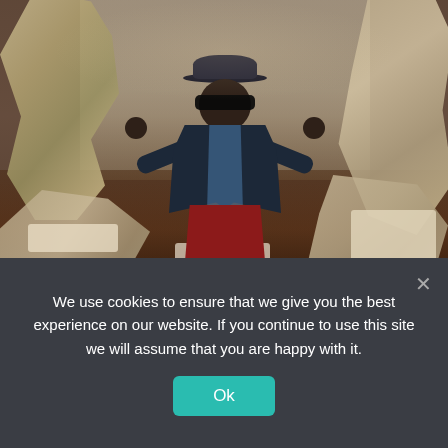[Figure (photo): A person in a black hat, dark jacket, and red skirt standing with arms outstretched in an art gallery surrounded by large metallic bronze-silver abstract human figure sculptures on white pedestals. The gallery has warm wood floors and light-colored walls.]
Time Sculpture is part of JEFRÉ's Baks Series, his first signature works named after the phonetic pronunciation of the word "box" in American English.
We use cookies to ensure that we give you the best experience on our website. If you continue to use this site we will assume that you are happy with it.